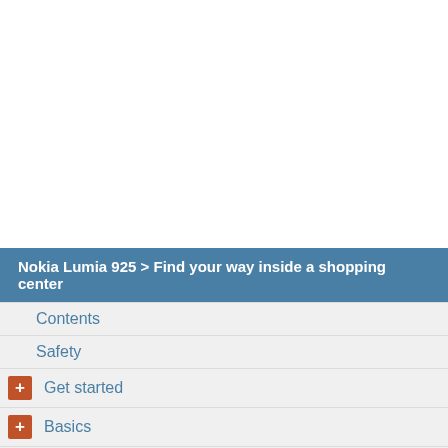Nokia Lumia 925 > Find your way inside a shopping center
Contents
Safety
Get started
Basics
People & messaging
Camera